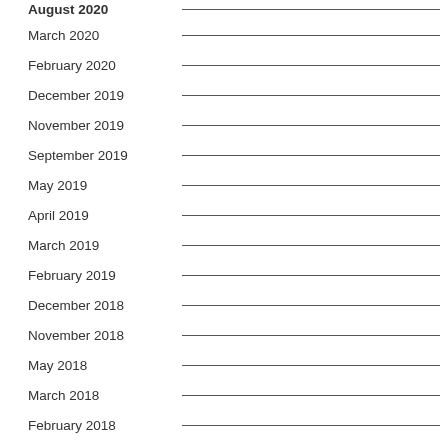August 2020
March 2020
February 2020
December 2019
November 2019
September 2019
May 2019
April 2019
March 2019
February 2019
December 2018
November 2018
May 2018
March 2018
February 2018